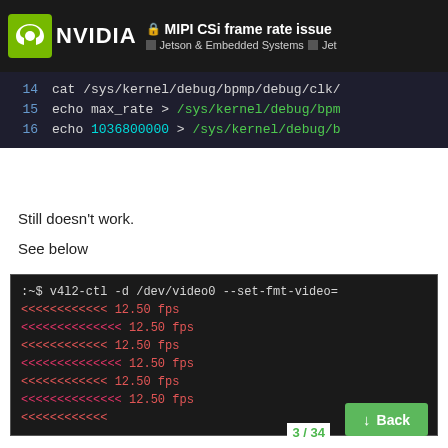NVIDIA — MIPI CSi frame rate issue — Jetson & Embedded Systems
[Figure (screenshot): Code snippet lines 14-16: cat /sys/kernel/debug/bpmp/debug/clk/, echo max_rate > /sys/kernel/debug/bpm, echo 1036800000 > /sys/kernel/debug/b]
Still doesn't work.
See below
[Figure (screenshot): Terminal output: :~$ v4l2-ctl -d /dev/video0 --set-fmt-video= followed by multiple lines of '<<<<<<<<<<< 12.50 fps' and '<<<<<<<<<<<<<< 12.50 fps' and a partial '<<<<<<<<<<<']
3 / 34